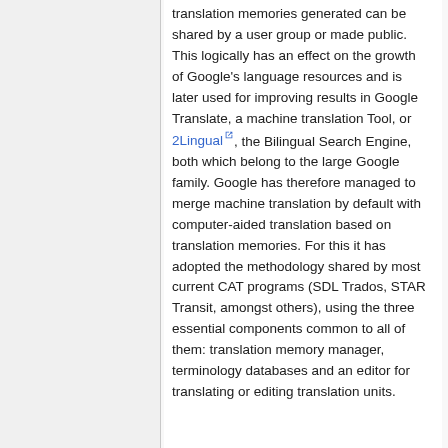translation memories generated can be shared by a user group or made public. This logically has an effect on the growth of Google's language resources and is later used for improving results in Google Translate, a machine translation Tool, or 2Lingual [external link], the Bilingual Search Engine, both which belong to the large Google family. Google has therefore managed to merge machine translation by default with computer-aided translation based on translation memories. For this it has adopted the methodology shared by most current CAT programs (SDL Trados, STAR Transit, amongst others), using the three essential components common to all of them: translation memory manager, terminology databases and an editor for translating or editing translation units.